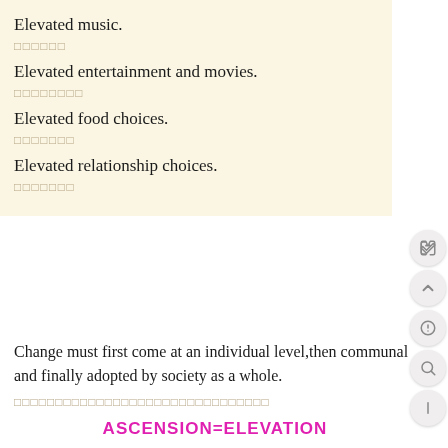Elevated music.
□□□□□□
Elevated entertainment and movies.
□□□□□□□□
Elevated food choices.
□□□□□□□
Elevated relationship choices.
□□□□□□□
Change must first come at an individual level,then communal and finally adopted by society as a whole.
□□□□□□□□□□□□□□□□□□□□□□□□□□□□□
ASCENSION=ELEVATION